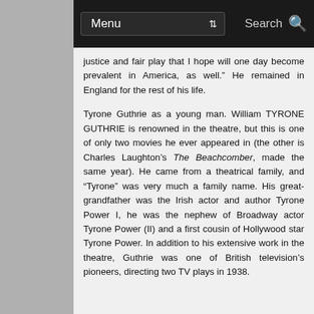Menu  Search
justice and fair play that I hope will one day become prevalent in America, as well.” He remained in England for the rest of his life.
Tyrone Guthrie as a young man. William TYRONE GUTHRIE is renowned in the theatre, but this is one of only two movies he ever appeared in (the other is Charles Laughton’s The Beachcomber, made the same year). He came from a theatrical family, and “Tyrone” was very much a family name. His great-grandfather was the Irish actor and author Tyrone Power I, he was the nephew of Broadway actor Tyrone Power (II) and a first cousin of Hollywood star Tyrone Power. In addition to his extensive work in the theatre, Guthrie was one of British television’s pioneers, directing two TV plays in 1938.